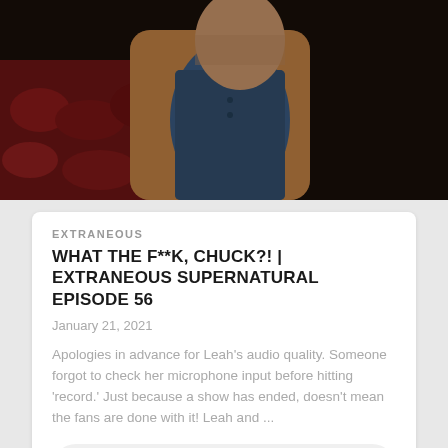[Figure (photo): Dark photo of a man in a tan jacket and blue shirt, with red theater seats in the background]
EXTRANEOUS
WHAT THE F**K, CHUCK?! | EXTRANEOUS SUPERNATURAL EPISODE 56
January 21, 2021
Apologies in advance for Leah's audio quality. Someone forgot to check her microphone input before hitting 'record.' Just because a show has ended, doesn't mean the fans are done with it! Leah and ...
[Figure (screenshot): Audio player showing 0:00 / 52:12 with play button, progress bar, volume and more options icons]
[Figure (photo): Partially visible dark photo at the bottom of the page]